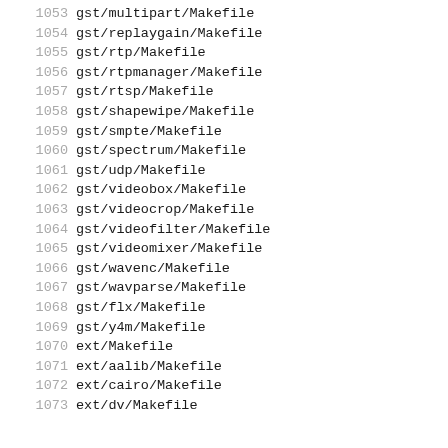1053    gst/multipart/Makefile
1054    gst/replaygain/Makefile
1055    gst/rtp/Makefile
1056    gst/rtpmanager/Makefile
1057    gst/rtsp/Makefile
1058    gst/shapewipe/Makefile
1059    gst/smpte/Makefile
1060    gst/spectrum/Makefile
1061    gst/udp/Makefile
1062    gst/videobox/Makefile
1063    gst/videocrop/Makefile
1064    gst/videofilter/Makefile
1065    gst/videomixer/Makefile
1066    gst/wavenc/Makefile
1067    gst/wavparse/Makefile
1068    gst/flx/Makefile
1069    gst/y4m/Makefile
1070    ext/Makefile
1071    ext/aalib/Makefile
1072    ext/cairo/Makefile
1073    ext/dv/Makefile